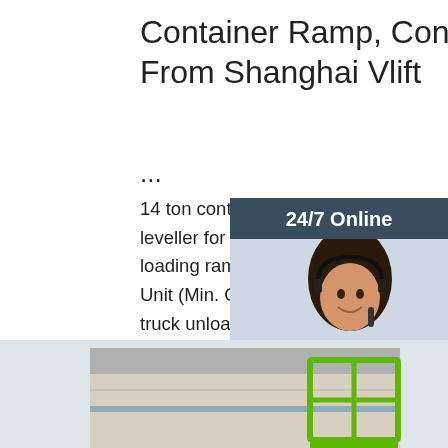Container Ramp, Container Ramp Direct From Shanghai Vlift ...
14 ton container load ramp and hydraulic dock leveller for sale. ... 16 ton hydraulic dock leveller loading ramp for sale. $1,700.00 - $1,850.00 / Unit (Min. Order) 8000kg capacity container truck unloading ramps to unload container on ground. $300 ... 14 ton container load ramp hydraulic dock leveller for sale. $1,950.00 ...
[Figure (photo): Customer service representative with headset, shown in a chat widget with '24/7 Online' header and 'Click here for free chat!' and 'QUOTATION' button]
[Figure (photo): Industrial building/warehouse exterior with green scissor lift structure on the right side]